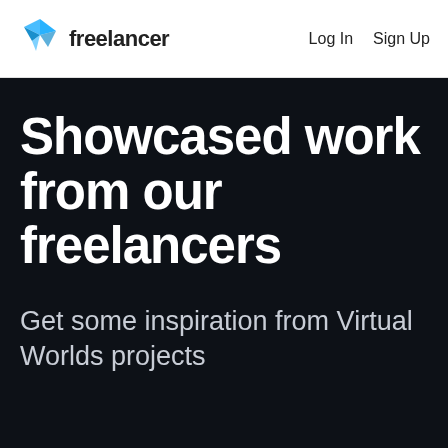[Figure (logo): Freelancer logo with blue geometric arrow/bird icon and bold 'freelancer' text]
Log In   Sign Up
Showcased work from our freelancers
Get some inspiration from Virtual Worlds projects